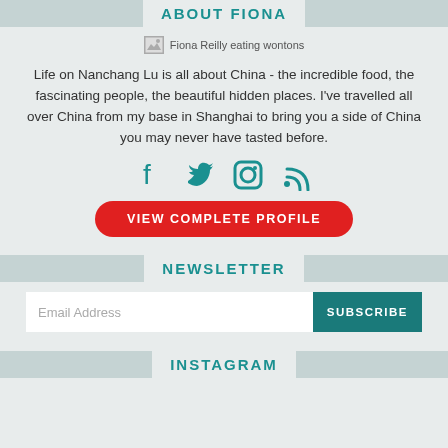ABOUT FIONA
[Figure (photo): Fiona Reilly eating wontons - broken image placeholder with alt text]
Life on Nanchang Lu is all about China - the incredible food, the fascinating people, the beautiful hidden places. I've travelled all over China from my base in Shanghai to bring you a side of China you may never have tasted before.
[Figure (other): Social media icons: Facebook, Twitter, Instagram, RSS feed - in teal color]
VIEW COMPLETE PROFILE
NEWSLETTER
Email Address
SUBSCRIBE
INSTAGRAM